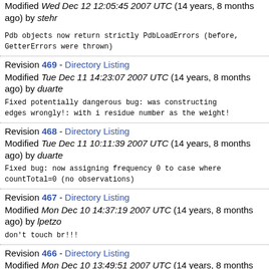Modified Wed Dec 12 12:05:45 2007 UTC (14 years, 8 months ago) by stehr
Pdb objects now return strictly PdbLoadErrors (before, GetterErrors were thrown)
Revision 469 - Directory Listing
Modified Tue Dec 11 14:23:07 2007 UTC (14 years, 8 months ago) by duarte
Fixed potentially dangerous bug: was constructing edges wrongly!: with i residue number as the weight!
Revision 468 - Directory Listing
Modified Tue Dec 11 10:11:39 2007 UTC (14 years, 8 months ago) by duarte
Fixed bug: now assigning frequency 0 to case where countTotal=0 (no observations)
Revision 467 - Directory Listing
Modified Mon Dec 10 14:37:19 2007 UTC (14 years, 8 months ago) by lpetzo
don't touch br!!!
Revision 466 - Directory Listing
Modified Mon Dec 10 13:49:51 2007 UTC (14 years, 8 months ago) by lpetzo